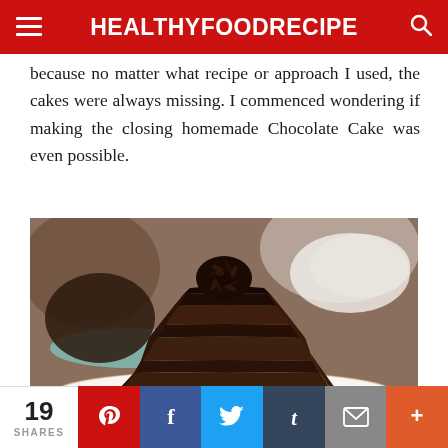HEALTHYFOODRECIPE
because no matter what recipe or approach I used, the cakes were always missing. I commenced wondering if making the closing homemade Chocolate Cake was even possible.
[Figure (photo): A slice of rich layered chocolate cake with chocolate frosting and a decorative chocolate rosette on top, served on a white plate. Another piece of chocolate cake on a turquoise plate is visible in the background.]
19 SHARES | Pinterest | Facebook | Twitter | Tumblr | Email | More